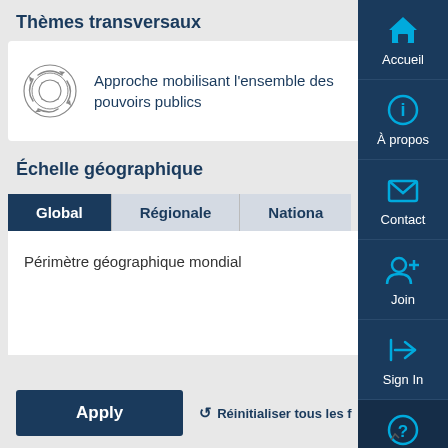Thèmes transversaux
[Figure (illustration): Circular arrows icon representing interconnected public powers]
Approche mobilisant l'ensemble des pouvoirs publics
Échelle géographique
Global | Régionale | Nationale
Périmètre géographique mondial
Apply
Réinitialiser tous les f
[Figure (screenshot): Right sidebar with navigation icons: Accueil (home), À propos (info), Contact (mail), Join (person+), Sign In (arrow), Aide (help)]